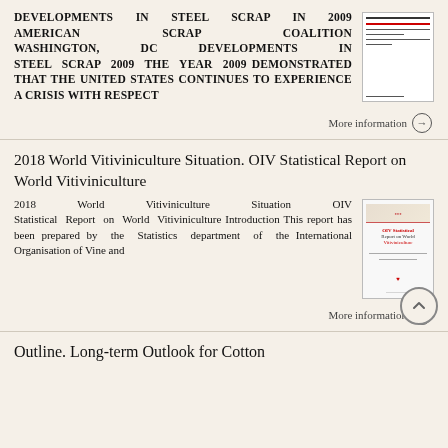DEVELOPMENTS IN STEEL SCRAP IN 2009 AMERICAN SCRAP COALITION WASHINGTON, DC DEVELOPMENTS IN STEEL SCRAP 2009 The year 2009 demonstrated that the United States continues to experience a crisis with respect
More information →
2018 World Vitiviniculture Situation. OIV Statistical Report on World Vitiviniculture
2018 World Vitiviniculture Situation OIV Statistical Report on World Vitiviniculture Introduction This report has been prepared by the Statistics department of the International Organisation of Vine and
More information →
Outline. Long-term Outlook for Cotton